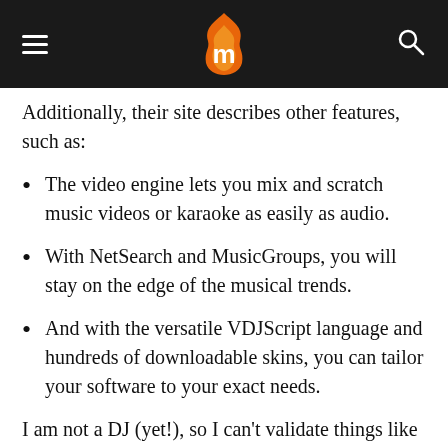≡  [logo]  🔍
Additionally, their site describes other features, such as:
The video engine lets you mix and scratch music videos or karaoke as easily as audio.
With NetSearch and MusicGroups, you will stay on the edge of the musical trends.
And with the versatile VDJScript language and hundreds of downloadable skins, you can tailor your software to your exact needs.
I am not a DJ (yet!), so I can't validate things like you could if you had a few extra things to do